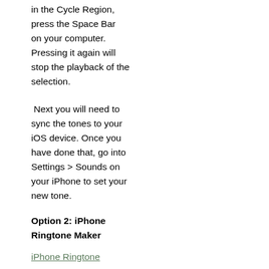in the Cycle Region, press the Space Bar on your computer. Pressing it again will stop the playback of the selection.
Next you will need to sync the tones to your iOS device. Once you have done that, go into Settings > Sounds on your iPhone to set your new tone.
Option 2: iPhone Ringtone Maker
iPhone Ringtone